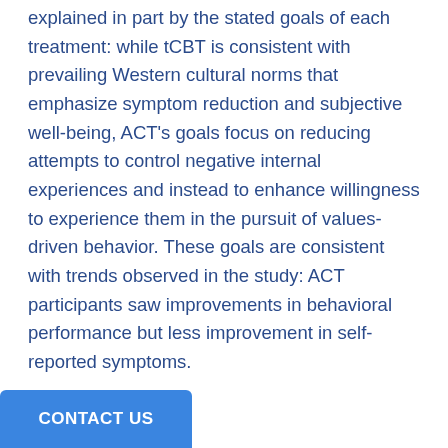explained in part by the stated goals of each treatment: while tCBT is consistent with prevailing Western cultural norms that emphasize symptom reduction and subjective well-being, ACT's goals focus on reducing attempts to control negative internal experiences and instead to enhance willingness to experience them in the pursuit of values-driven behavior. These goals are consistent with trends observed in the study: ACT participants saw improvements in behavioral performance but less improvement in self-reported symptoms.
CONTACT US